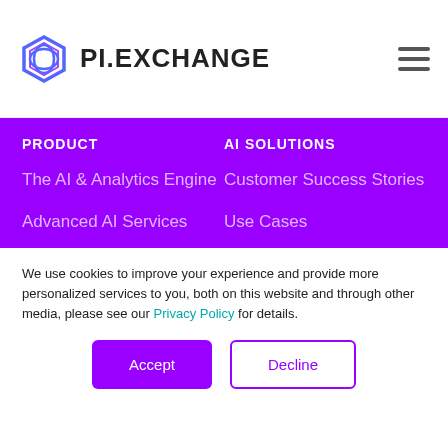[Figure (logo): PI.EXCHANGE logo with hexagon icon and text]
PRODUCT
AI SOLUTIONS
The AI & Analytics Engine
Customer Success Stories
Advanced AI Services
Use Cases
Pricing
Login
Free Trial
We use cookies to improve your experience and provide more personalized services to you, both on this website and through other media, please see our Privacy Policy for details.
Accept
Decline